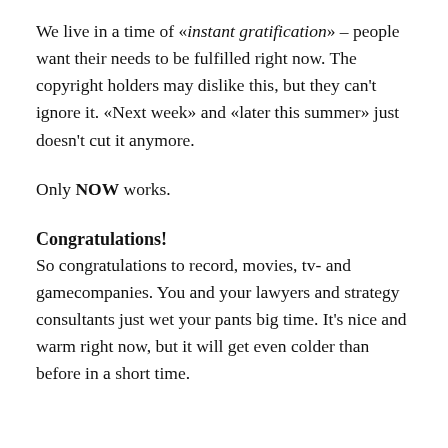We live in a time of «instant gratification» – people want their needs to be fulfilled right now. The copyright holders may dislike this, but they can't ignore it. «Next week» and «later this summer» just doesn't cut it anymore.
Only NOW works.
Congratulations!
So congratulations to record, movies, tv- and gamecompanies. You and your lawyers and strategy consultants just wet your pants big time. It's nice and warm right now, but it will get even colder than before in a short time.